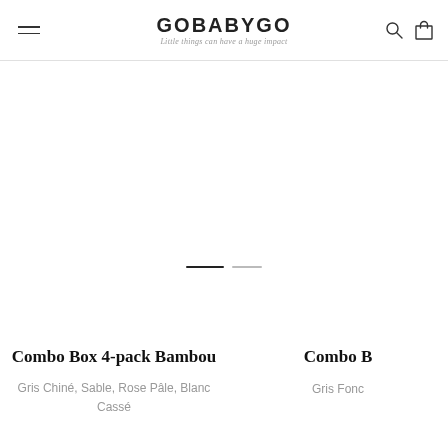GOBABYGO — Little things can have a huge impact
[Figure (screenshot): Carousel slider indicator showing two horizontal bars, the first dark (active) and the second light gray (inactive)]
Combo Box 4-pack Bambou
Gris Chiné, Sable, Rose Pâle, Blanc Cassé
Combo B
Gris Fonc